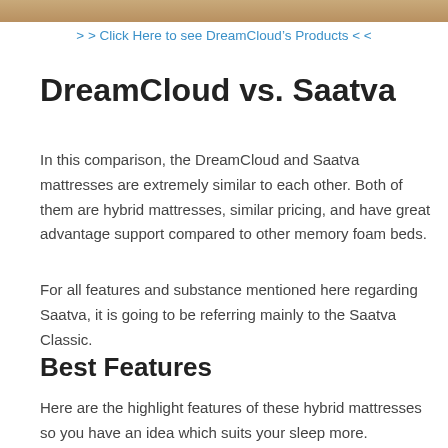[Figure (photo): Top image strip, partially visible photograph]
> > Click Here to see DreamCloud's Products < <
DreamCloud vs. Saatva
In this comparison, the DreamCloud and Saatva mattresses are extremely similar to each other. Both of them are hybrid mattresses, similar pricing, and have great advantage support compared to other memory foam beds.
For all features and substance mentioned here regarding Saatva, it is going to be referring mainly to the Saatva Classic.
Best Features
Here are the highlight features of these hybrid mattresses so you have an idea which suits your sleep more.